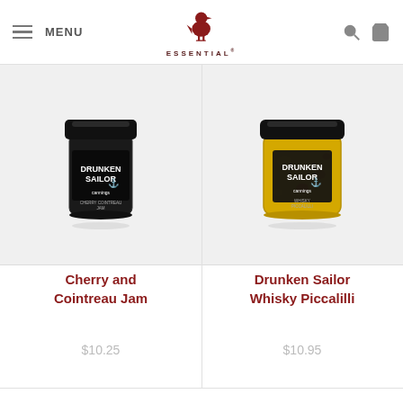MENU | ESSENTIAL
[Figure (photo): Jar of Drunken Sailor Cherry Cointreau Jam with black label on white background]
[Figure (photo): Jar of Drunken Sailor Whisky Piccalilli with yellow/green contents and black label on white background]
Cherry and Cointreau Jam
Drunken Sailor Whisky Piccalilli
$10.25
$10.95